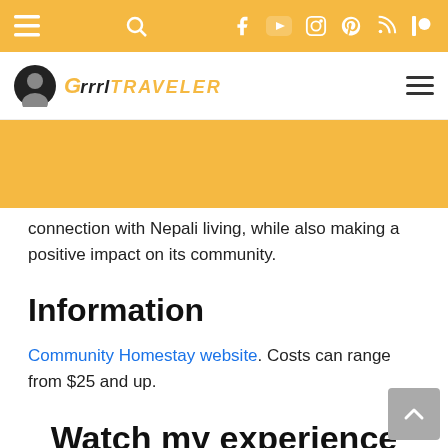Grrrltraveler website navigation bar with menu, search, Facebook, YouTube, Instagram, Pinterest, RSS, Patreon icons
[Figure (logo): Grrrltraveler blog logo with avatar icon and hamburger menu]
connection with Nepali living, while also making a positive impact on its community.
Information
Community Homestay website. Costs can range from $25 and up.
Watch my experience as your next travel adventure!